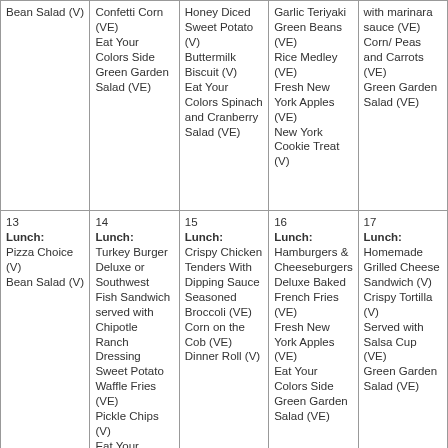| Mon | Tue | Wed | Thu | Fri |
| --- | --- | --- | --- | --- |
| Bean Salad (V) | Confetti Corn (VE)
Eat Your Colors Side Green Garden Salad (VE) | Honey Diced Sweet Potato (V)
Buttermilk Biscuit (V)
Eat Your Colors Spinach and Cranberry Salad (VE) | Garlic Teriyaki Green Beans (VE)
Rice Medley (VE)
Fresh New York Apples (VE)
New York Cookie Treat (V) | with marinara sauce (VE)
Corn/ Peas and Carrots (VE)
Green Garden Salad (VE) |
| 13
Lunch:
Pizza Choice (V)
Bean Salad (V) | 14
Lunch:
Turkey Burger Deluxe or Southwest Fish Sandwich served with Chipotle Ranch Dressing Sweet Potato Waffle Fries (VE)
Pickle Chips (V)
Eat Your Colors Side... | 15
Lunch:
Crispy Chicken Tenders With Dipping Sauce Seasoned Broccoli (VE)
Corn on the Cob (VE)
Dinner Roll (V) | 16
Lunch:
Hamburgers & Cheeseburgers Deluxe Baked French Fries (VE)
Fresh New York Apples (VE)
Eat Your Colors Side Green Garden Salad (VE) | 17
Lunch:
Homemade Grilled Cheese Sandwich (V)
Crispy Tortilla (V)
Served with Salsa Cup (VE)
Green Garden Salad (VE) |